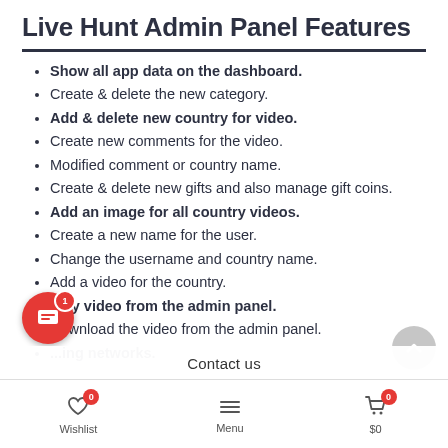Live Hunt Admin Panel Features
Show all app data on the dashboard.
Create & delete the new category.
Add & delete new country for video.
Create new comments for the video.
Modified comment or country name.
Create & delete new gifts and also manage gift coins.
Add an image for all country videos.
Create a new name for the user.
Change the username and country name.
Add a video for the country.
Play video from the admin panel.
Download the video from the admin panel.
...ing networks.
Wishlist  Menu  $0